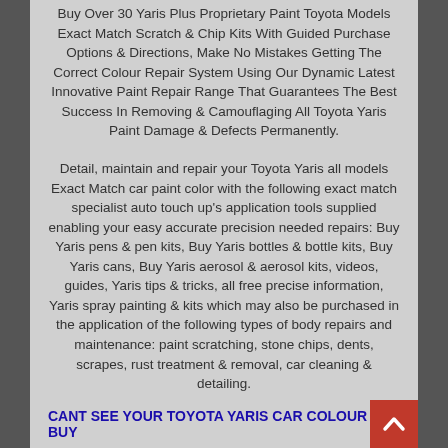Buy Over 30 Yaris Plus Proprietary Paint Toyota Models Exact Match Scratch & Chip Kits With Guided Purchase Options & Directions, Make No Mistakes Getting The Correct Colour Repair System Using Our Dynamic Latest Innovative Paint Repair Range That Guarantees The Best Success In Removing & Camouflaging All Toyota Yaris Paint Damage & Defects Permanently.
Detail, maintain and repair your Toyota Yaris all models Exact Match car paint color with the following exact match specialist auto touch up's application tools supplied enabling your easy accurate precision needed repairs: Buy Yaris pens & pen kits, Buy Yaris bottles & bottle kits, Buy Yaris cans, Buy Yaris aerosol & aerosol kits, videos, guides, Yaris tips & tricks, all free precise information, Yaris spray painting & kits which may also be purchased in the application of the following types of body repairs and maintenance: paint scratching, stone chips, dents, scrapes, rust treatment & removal, car cleaning & detailing.
CANT SEE YOUR TOYOTA YARIS CAR COLOUR TO BUY